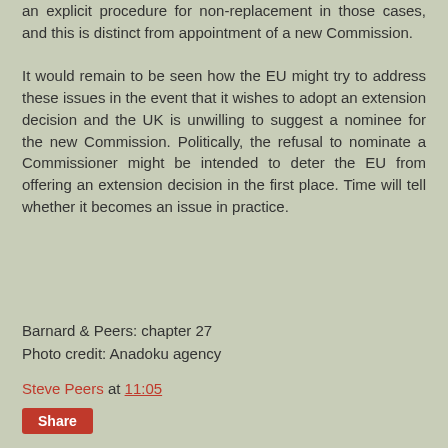an explicit procedure for non-replacement in those cases, and this is distinct from appointment of a new Commission.
It would remain to be seen how the EU might try to address these issues in the event that it wishes to adopt an extension decision and the UK is unwilling to suggest a nominee for the new Commission. Politically, the refusal to nominate a Commissioner might be intended to deter the EU from offering an extension decision in the first place. Time will tell whether it becomes an issue in practice.
Barnard & Peers: chapter 27
Photo credit: Anadoku agency
Steve Peers at 11:05
Share
20 comments:
corkirish.wordpress.com  17 September 2019 at 13:32